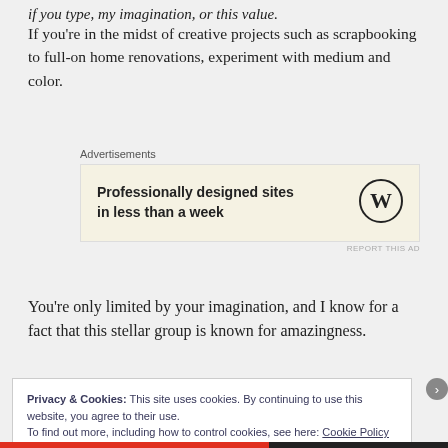if you type, my imagination, or this value.
If you're in the midst of creative projects such as scrapbooking to full-on home renovations, experiment with medium and color.
[Figure (other): Advertisement box with WordPress logo and text: Professionally designed sites in less than a week]
You're only limited by your imagination, and I know for a fact that this stellar group is known for amazingness.
Privacy & Cookies: This site uses cookies. By continuing to use this website, you agree to their use.
To find out more, including how to control cookies, see here: Cookie Policy